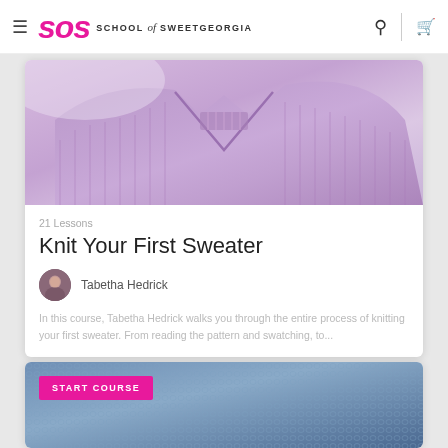SOS SCHOOL of SWEETGEORGIA
[Figure (photo): Close-up photo of a lavender/purple knitted sweater showing V-neck detail and ribbing texture]
21 Lessons
Knit Your First Sweater
Tabetha Hedrick
In this course, Tabetha Hedrick walks you through the entire process of knitting your first sweater. From reading the pattern and swatching, to...
[Figure (photo): Close-up photo of blue/denim-colored textured knitting fabric with a pink 'START COURSE' button overlay]